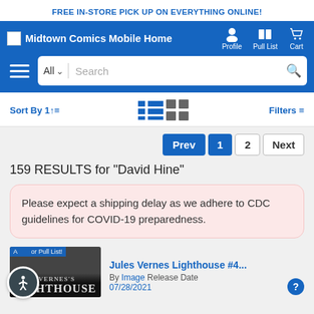FREE IN-STORE PICK UP ON EVERYTHING ONLINE!
[Figure (screenshot): Midtown Comics Mobile Home navigation header with Profile, Pull List, and Cart icons on blue background]
[Figure (screenshot): Search bar with hamburger menu, All category dropdown, Search placeholder, and search icon]
[Figure (screenshot): Sort By and Filters bar with list and grid view toggle icons]
[Figure (screenshot): Pagination: Prev, 1 (active), 2, Next buttons]
159 RESULTS for "David Hine"
Please expect a shipping delay as we adhere to CDC guidelines for COVID-19 preparedness.
Jules Vernes Lighthouse #4... By Image Release Date
Add to Pull List!